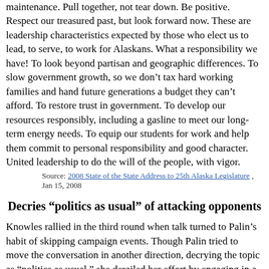maintenance. Pull together, not tear down. Be positive. Respect our treasured past, but look forward now. These are leadership characteristics expected by those who elect us to lead, to serve, to work for Alaskans. What a responsibility we have! To look beyond partisan and geographic differences. To slow government growth, so we don't tax hard working families and hand future generations a budget they can't afford. To restore trust in government. To develop our resources responsibly, including a gasline to meet our long-term energy needs. To equip our students for work and help them commit to personal responsibility and good character. United leadership to do the will of the people, with vigor.
Source: 2008 State of the State Address to 25th Alaska Legislature , Jan 15, 2008
Decries “politics as usual” of attacking opponents
Knowles rallied in the third round when talk turned to Palin’s habit of skipping campaign events. Though Palin tried to move the conversation in another direction, decrying the topic as “politics as usual,” she derailed her effort by engaging in a politics-as-usual debate over the definition of the phrase “no-show.” The moderator cut them off to end the silliness.
Source: Alaska 2006 Governor Debate: ADN coverage of radio debate , Nov 3, 2006
Endorsed by United Fishermen of Alaska (commercial group)